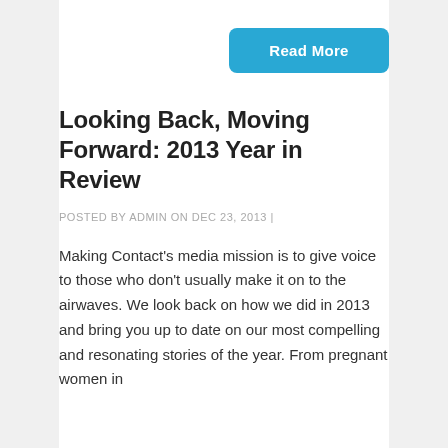[Figure (other): Cyan/blue rounded rectangle button with white bold text reading 'Read More']
Looking Back, Moving Forward: 2013 Year in Review
POSTED BY ADMIN ON DEC 23, 2013 |
Making Contact's media mission is to give voice to those who don't usually make it on to the airwaves. We look back on how we did in 2013 and bring you up to date on our most compelling and resonating stories of the year. From pregnant women in